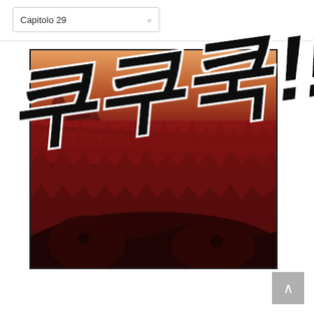Capitolo 29
[Figure (illustration): Manga/manhwa panel showing a dramatic action scene with a large monster or creature in deep red and brown tones. Large Korean sound effect characters '쿠쿠쿡!!' are overlaid across the panel in bold black brush-stroke style lettering with white outline, extending beyond the panel borders. The background shows a dim orange sky with jagged rocky formations. The bottom portion shows a dark creature's head or body.]
↑ (back to top button)